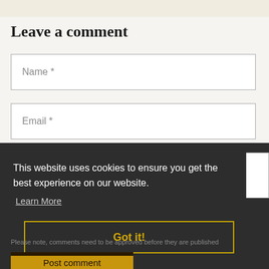Leave a comment
Name *
Email *
This website uses cookies to ensure you get the best experience on our website. Learn More
Got it!
Please note, comments need to be approved before they are published
Post comment